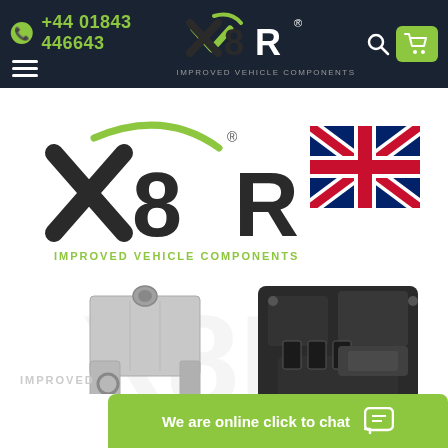+44 01843 446643
[Figure (logo): X8R Improved Vehicle Components logo in header (white and green on dark background)]
[Figure (logo): X8R Improved Vehicle Components large logo with green checkmark]
[Figure (illustration): UK Union Jack flag]
[Figure (photo): Vehicle component parts - metal bracket and turbocharger/engine component on white background with watermark X8R logo]
We are online click to chat